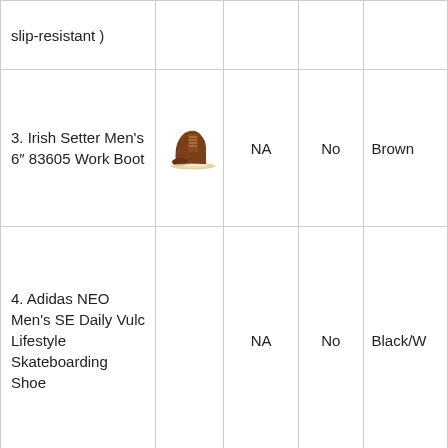| Product | Image | Warranty | Waterproof | Color |
| --- | --- | --- | --- | --- |
| slip-resistant ) |  |  |  |  |
| 3. Irish Setter Men's 6" 83605 Work Boot | [shoe image] | NA | No | Brown |
| 4. Adidas NEO Men's SE Daily Vulc Lifestyle Skateboarding Shoe |  | NA | No | Black/W... |
| 5. Caterpillar Men's Second Shift 6" Plain Soft Toe Work | [shoe image] | 1 Month | Yes | Tan |